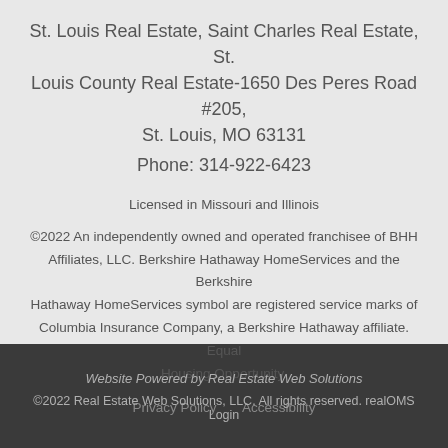St. Louis Real Estate, Saint Charles Real Estate, St. Louis County Real Estate-1650 Des Peres Road #205, St. Louis, MO 63131
Phone: 314-922-6423
Licensed in Missouri and Illinois
©2022 An independently owned and operated franchisee of BHH Affiliates, LLC. Berkshire Hathaway HomeServices and the Berkshire Hathaway HomeServices symbol are registered service marks of Columbia Insurance Company, a Berkshire Hathaway affiliate. Equal Housing Opportunity.
Privacy Policy   Accessibility
Website Powered by Real Estate Web Solutions
©2022 Real Estate Web Solutions, LLC. All rights reserved. realOMS Login